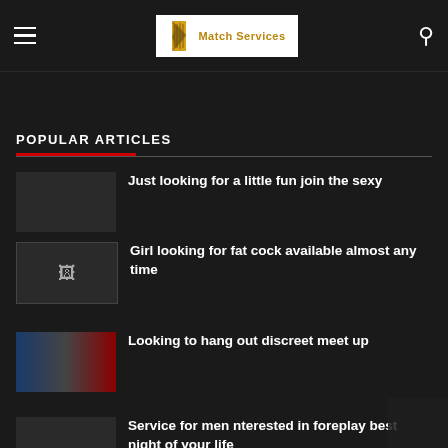Match Services
POPULAR ARTICLES
Just looking for a little fun join the sexy
Girl looking for fat cock available almost any time
Looking to hang out discreet meet up
Service for men nterested in foreplay best night of your life